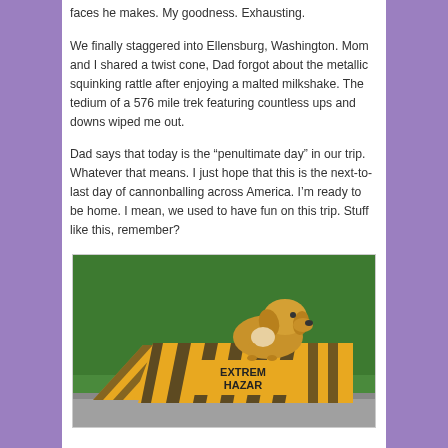faces he makes. My goodness. Exhausting.
We finally staggered into Ellensburg, Washington. Mom and I shared a twist cone, Dad forgot about the metallic squinking rattle after enjoying a malted milkshake. The tedium of a 576 mile trek featuring countless ups and downs wiped me out.
Dad says that today is the “penultimate day” in our trip. Whatever that means. I just hope that this is the next-to-last day of cannonballing across America. I’m ready to be home. I mean, we used to have fun on this trip. Stuff like this, remember?
[Figure (photo): A golden/blonde dachshund puppy sitting on a yellow and black striped cardboard prop labeled 'EXTREME HAZARD', placed on green artificial grass with gravel border.]